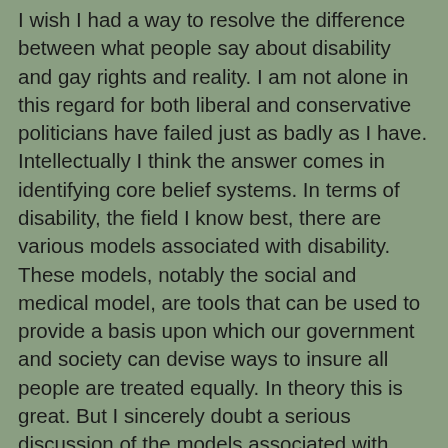I wish I had a way to resolve the difference between what people say about disability and gay rights and reality. I am not alone in this regard for both liberal and conservative politicians have failed just as badly as I have. Intellectually I think the answer comes in identifying core belief systems. In terms of disability, the field I know best, there are various models associated with disability. These models, notably the social and medical model, are tools that can be used to provide a basis upon which our government and society can devise ways to insure all people are treated equally. In theory this is great. But I sincerely doubt a serious discussion of the models associated with disability will ever take place in a public forum. What we need, that is our society needs, is a two pronged attack for disability rights. We need foot soldiers. groups like ADAPT, that will force the government via civil disobedience to address disability rights. Nothing works better than civil disobedience and shaming politicians into paying attention. But we also need such activists to work hand in hand with disability rights scholars and the medical community. To date, this sort of collaboration has not worked. We have doctors seeking to "cure" or even abort disabling conditions, disability activists protesting such